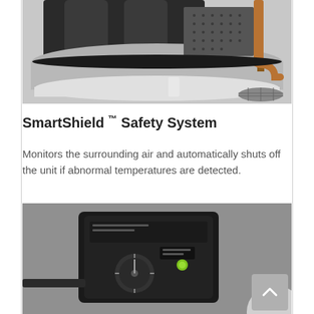[Figure (photo): Close-up photo of a water heater top section showing dark cylindrical components, ventilation grille, and copper pipe on the right side with a white pipe at the bottom]
SmartShield ™ Safety System
Monitors the surrounding air and automatically shuts off the unit if abnormal temperatures are detected.
[Figure (photo): Close-up photo of a black control unit/thermostat module mounted on a water heater, featuring a dial knob and a green indicator light]